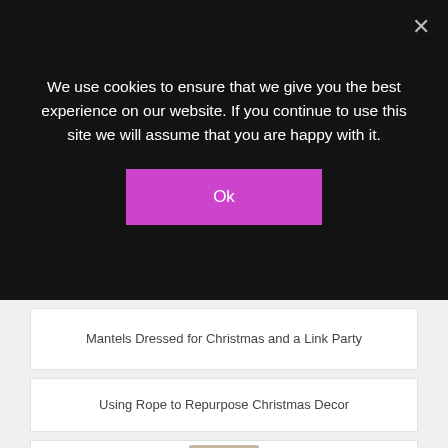We use cookies to ensure that we give you the best experience on our website. If you continue to use this site we will assume that you are happy with it.
Ok
Mantels Dressed for Christmas and a Link Party
Using Rope to Repurpose Christmas Decor
[Figure (photo): Partial view of a person's photo at the bottom of the page]